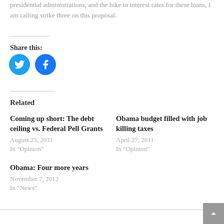presidential administrations, and the hike in interest rates for these loans, I am calling strike three on this proposal.
Share this:
[Figure (illustration): Twitter and Facebook social share icon buttons (circular blue icons)]
Related
Coming up short: The debt ceiling vs. Federal Pell Grants
August 23, 2011
In "Opinion"
Obama budget filled with job killing taxes
April 27, 2011
In "Opinion"
Obama: Four more years
November 7, 2012
In "News"